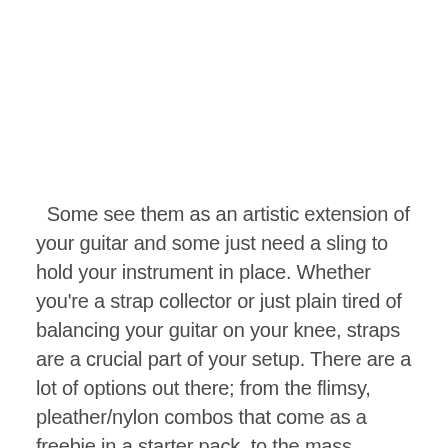Some see them as an artistic extension of your guitar and some just need a sling to hold your instrument in place. Whether you're a strap collector or just plain tired of balancing your guitar on your knee, straps are a crucial part of your setup. There are a lot of options out there; from the flimsy, pleather/nylon combos that come as a freebie in a starter pack, to the mass produced classic rock band branded ones to the crème de la crème straps that a select few like bringing in from overseas. So many to choose from. So where…